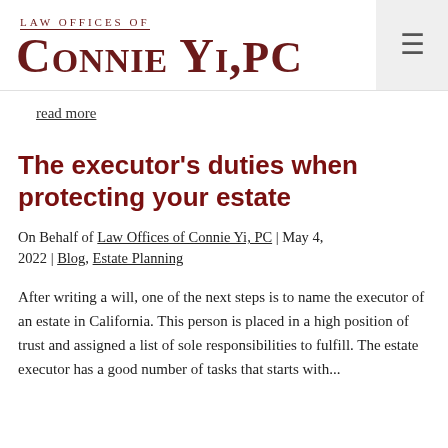LAW OFFICES OF CONNIE YI, PC
read more
The executor's duties when protecting your estate
On Behalf of Law Offices of Connie Yi, PC | May 4, 2022 | Blog, Estate Planning
After writing a will, one of the next steps is to name the executor of an estate in California. This person is placed in a high position of trust and assigned a list of sole responsibilities to fulfill. The estate executor has a good number of tasks that starts with...